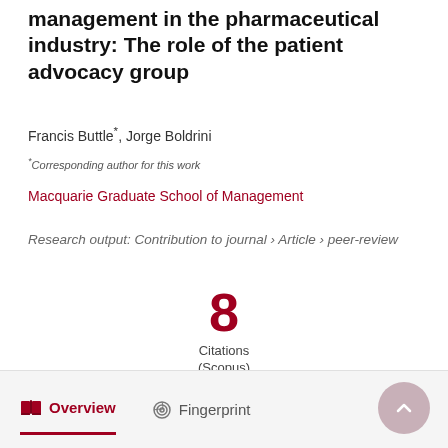management in the pharmaceutical industry: The role of the patient advocacy group
Francis Buttle*, Jorge Boldrini
*Corresponding author for this work
Macquarie Graduate School of Management
Research output: Contribution to journal › Article › peer-review
8 Citations (Scopus)
Overview   Fingerprint